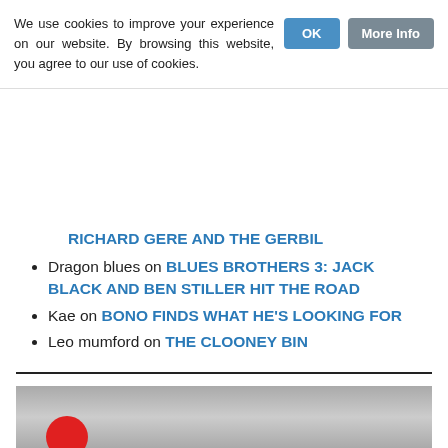We use cookies to improve your experience on our website. By browsing this website, you agree to our use of cookies.
RICHARD GERE AND THE GERBIL
Dragon blues on BLUES BROTHERS 3: JACK BLACK AND BEN STILLER HIT THE ROAD
Kae on BONO FINDS WHAT HE'S LOOKING FOR
Leo mumford on THE CLOONEY BIN
9 TIMES TABLE & OTHER TALES
[Figure (photo): Partial photo showing a red circular shape on a grey background, bottom of page]